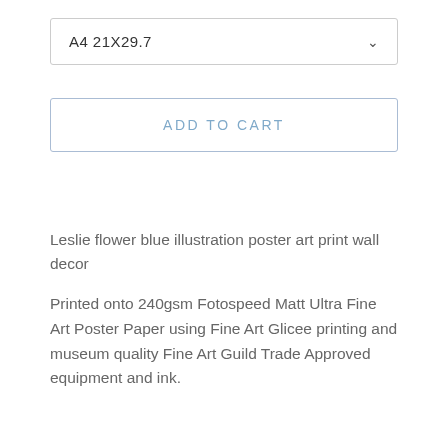A4 21X29.7
ADD TO CART
Leslie flower blue illustration poster art print wall decor
Printed onto 240gsm Fotospeed Matt Ultra Fine Art Poster Paper using Fine Art Glicee printing and museum quality Fine Art Guild Trade Approved equipment and ink.